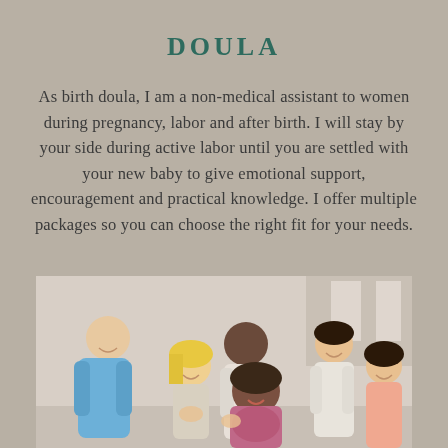DOULA
As birth doula, I am a non-medical assistant to women during pregnancy, labor and after birth. I will stay by your side during active labor until you are settled with your new baby to give emotional support, encouragement and practical knowledge. I offer multiple packages so you can choose the right fit for your needs.
[Figure (photo): A diverse group of people gathered together, smiling and supporting each other. One person in the center appears to be a pregnant woman being embraced by the group. People wear casual clothing in various colors including blue, white, and pink.]